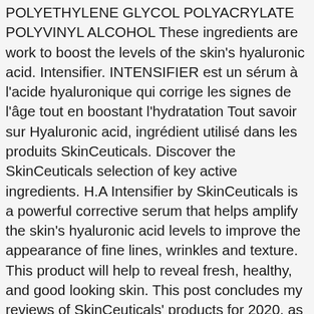POLYETHYLENE GLYCOL POLYACRYLATE POLYVINYL ALCOHOL These ingredients are work to boost the levels of the skin's hyaluronic acid. Intensifier. INTENSIFIER est un sérum à l'acide hyaluronique qui corrige les signes de l'âge tout en boostant l'hydratation Tout savoir sur Hyaluronic acid, ingrédient utilisé dans les produits SkinCeuticals. Discover the SkinCeuticals selection of key active ingredients. H.A Intensifier by SkinCeuticals is a powerful corrective serum that helps amplify the skin's hyaluronic acid levels to improve the appearance of fine lines, wrinkles and texture. This product will help to reveal fresh, healthy, and good looking skin. This post concludes my reviews of SkinCeuticals' products for 2020, as I don't plan any more for this year. But we have found comedogenic components, allergens, silicones and polyethylene glycol (PEG). Reveal fresher and healthier-looking skin with Hyaluronic Acid Intensifier from SkinCeuticals. Clinically proven to improve hyperpigmentation, wrinkles, acne, redness, excess oil, and overall appearance of the pores, our multi-faceted blend